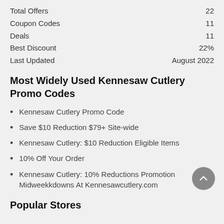|  |  |
| --- | --- |
| Total Offers | 22 |
| Coupon Codes | 11 |
| Deals | 11 |
| Best Discount | 22% |
| Last Updated | August 2022 |
Most Widely Used Kennesaw Cutlery Promo Codes
Kennesaw Cutlery Promo Code
Save $10 Reduction $79+ Site-wide
Kennesaw Cutlery: $10 Reduction Eligible Items
10% Off Your Order
Kennesaw Cutlery: 10% Reductions Promotion Midweekkdowns At Kennesawcutlery.com
Popular Stores